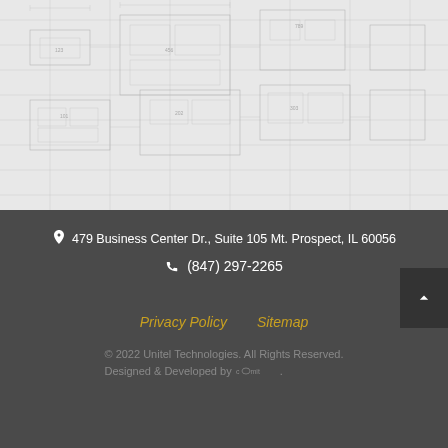[Figure (engineering-diagram): Blueprint/technical drawing background — light gray with faint engineering schematic lines and grid patterns]
479 Business Center Dr., Suite 105 Mt. Prospect, IL 60056
(847) 297-2265
Privacy Policy
Sitemap
© 2022 Unitel Technologies. All Rights Reserved. Designed & Developed by comit.